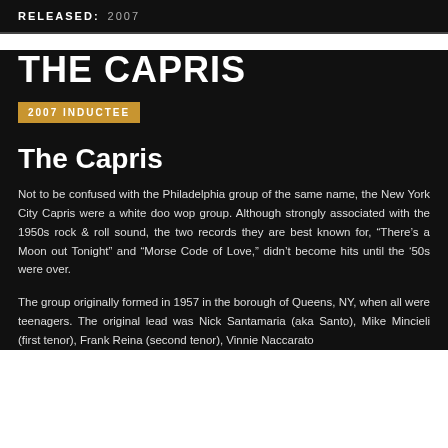RELEASED: 2007
THE CAPRIS
2007 INDUCTEE
The Capris
Not to be confused with the Philadelphia group of the same name, the New York City Capris were a white doo wop group. Although strongly associated with the 1950s rock & roll sound, the two records they are best known for, “There’s a Moon out Tonight” and “Morse Code of Love,” didn’t become hits until the ’50s were over.
The group originally formed in 1957 in the borough of Queens, NY, when all were teenagers. The original lead was Nick Santamaria (aka Santo), Mike Mincieli (first tenor), Frank Reina (second tenor), Vinnie Naccarato